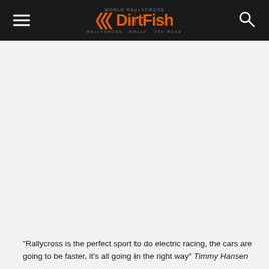DirtFish
“Rallycross is the perfect sport to do electric racing, the cars are going to be faster, it’s all going in the right way” Timmy Hansen